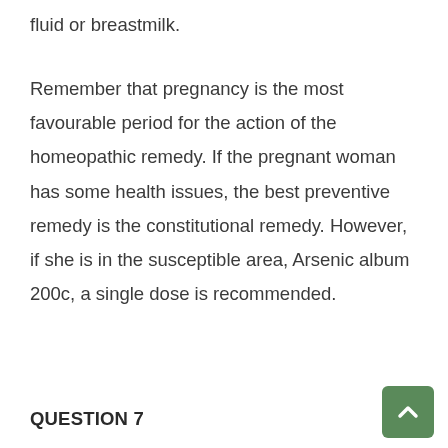has not been found in samples of amniotic fluid or breastmilk.
Remember that pregnancy is the most favourable period for the action of the homeopathic remedy. If the pregnant woman has some health issues, the best preventive remedy is the constitutional remedy. However, if she is in the susceptible area, Arsenic album 200c, a single dose is recommended.
QUESTION 7